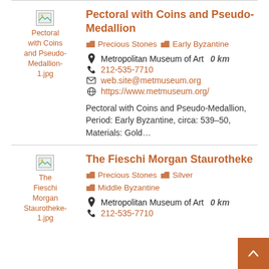[Figure (illustration): Thumbnail image placeholder for Pectoral with Coins and Pseudo-Medallion-1.jpg]
Pectoral with Coins and Pseudo-Medallion
Precious Stones  Early Byzantine
Metropolitan Museum of Art  0 km
212-535-7710
web.site@metmuseum.org
https://www.metmuseum.org/
Pectoral with Coins and Pseudo-Medallion, Period: Early Byzantine, circa: 539–50, Materials: Gold…
[Figure (illustration): Thumbnail image placeholder for The Fieschi Morgan Staurotheke-1.jpg]
The Fieschi Morgan Staurotheke
Precious Stones  Silver  Middle Byzantine
Metropolitan Museum of Art  0 km
212-535-7710